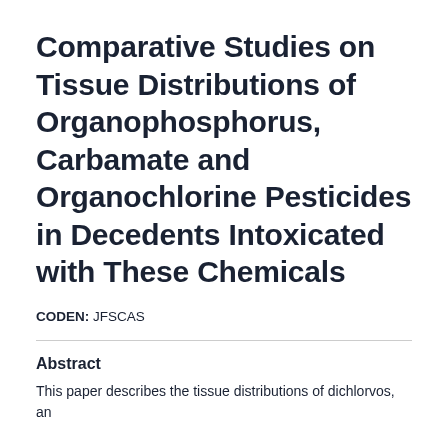Comparative Studies on Tissue Distributions of Organophosphorus, Carbamate and Organochlorine Pesticides in Decedents Intoxicated with These Chemicals
CODEN: JFSCAS
Abstract
This paper describes the tissue distributions of dichlorvos, an